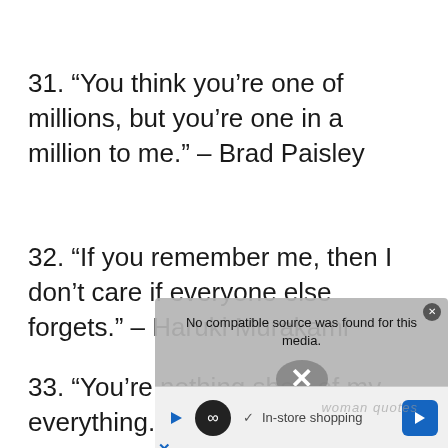31. “You think you’re one of millions, but you’re one in a million to me.” – Brad Paisley
32. “If you remember me, then I don’t care if everyone else forgets.” – Haruki Murakami
33. “You’re nothing short of my everything.” – Ralph Block
[Figure (screenshot): Ad overlay showing 'No compatible source was found for this media.' with close button and X dismiss button, plus a bottom bar with play, infinity, in-store shopping text and arrow navigation button.]